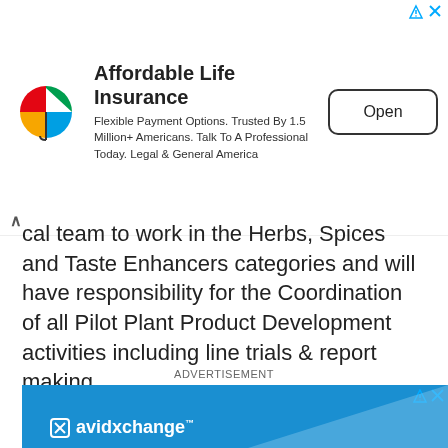[Figure (other): Legal & General America advertisement banner: 'Affordable Life Insurance. Flexible Payment Options. Trusted By 1.5 Million+ Americans. Talk To A Professional Today. Legal & General America' with Open button]
cal team to work in the Herbs, Spices and Taste Enhancers categories and will have responsibility for the Coordination of all Pilot Plant Product Development activities including line trials & report making.
ADVERTISEMENT
[Figure (other): AvidXchange advertisement: blue background with white text 'Robust purchase-to-pay' and AvidXchange logo]